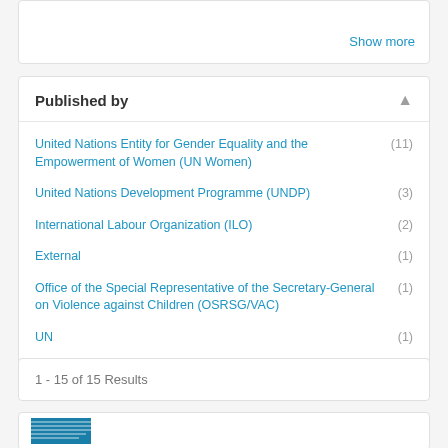Show more
Published by
United Nations Entity for Gender Equality and the Empowerment of Women (UN Women) (11)
United Nations Development Programme (UNDP) (3)
International Labour Organization (ILO) (2)
External (1)
Office of the Special Representative of the Secretary-General on Violence against Children (OSRSG/VAC) (1)
UN (1)
1 - 15 of 15 Results
[Figure (logo): Partial view of a blue striped logo/thumbnail at bottom left]